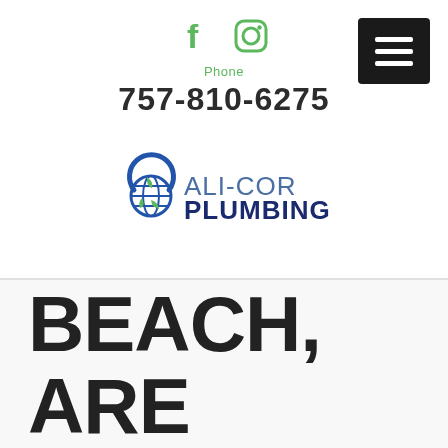[Figure (logo): Social media icons: Facebook (f) and Instagram (camera) in green color]
Phone
757-810-6275
[Figure (logo): Ali-Cor Plumbing logo with globe icon and text ALI-COR PLUMBING in blue and dark blue]
PLUMBER VIRGINIA BEACH, ARE